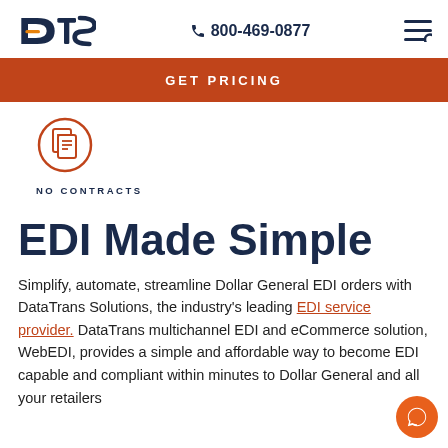DTS | 800-469-0877
GET PRICING
[Figure (illustration): Orange circular icon with document/contract imagery]
NO CONTRACTS
EDI Made Simple
Simplify, automate, streamline Dollar General EDI orders with DataTrans Solutions, the industry's leading EDI service provider. DataTrans multichannel EDI and eCommerce solution, WebEDI, provides a simple and affordable way to become EDI capable and compliant within minutes to Dollar General and all your retailers